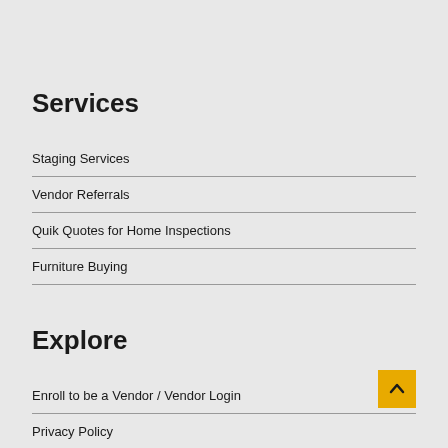Services
Staging Services
Vendor Referrals
Quik Quotes for Home Inspections
Furniture Buying
Explore
Enroll to be a Vendor / Vendor Login
Privacy Policy